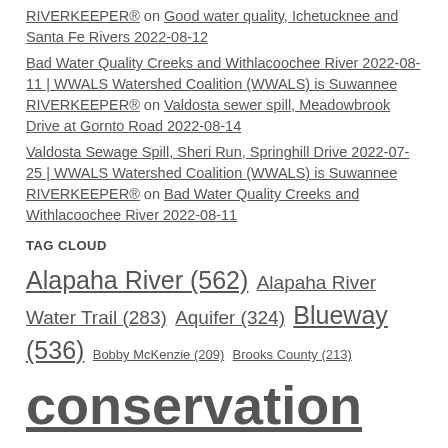RIVERKEEPER® on Good water quality, Ichetucknee and Santa Fe Rivers 2022-08-12
Bad Water Quality Creeks and Withlacoochee River 2022-08-11 | WWALS Watershed Coalition (WWALS) is Suwannee RIVERKEEPER® on Valdosta sewer spill, Meadowbrook Drive at Gornto Road 2022-08-14
Valdosta Sewage Spill, Sheri Run, Springhill Drive 2022-07-25 | WWALS Watershed Coalition (WWALS) is Suwannee RIVERKEEPER® on Bad Water Quality Creeks and Withlacoochee River 2022-08-11
TAG CLOUD
Alapaha River (562) Alapaha River Water Trail (283) Aquifer (324) Blueway (536) Bobby McKenzie (209) Brooks County (213) conservation (3001) creeks (268) FERC (224) Festival (220) Florida (925) Floridan Aquifer (223) GA EPD (216) Georgia (1419)